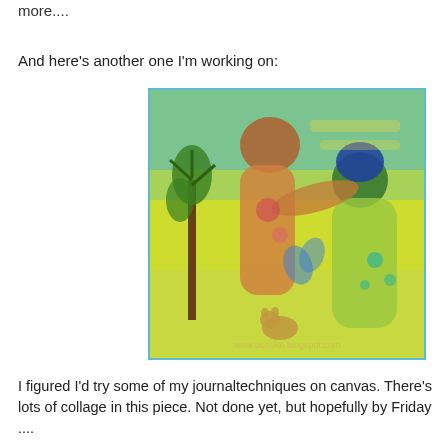more....
And here's another one I'm working on:
[Figure (illustration): Colorful painting in progress showing two figures in a tropical setting with warm yellow-orange and teal-green hues, collage elements, a small animal at the bottom, and a watermark reading www.dendke.blogspot.com]
I figured I'd try some of my journaltechniques on canvas. There's lots of collage in this piece. Not done yet, but hopefully by Friday ....